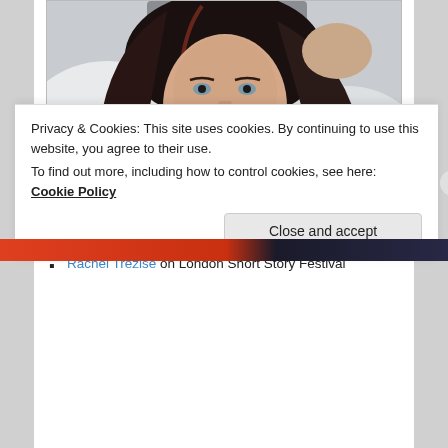[Figure (photo): Portrait photo of a woman with dark hair, smiling, hand near her head, wearing a necklace, white/cream top visible]
The interviews:
Marian Keyes in The Pool (or the 40 minute Director's Cut)
Rachel Trezise on London Short Story Festival
Privacy & Cookies: This site uses cookies. By continuing to use this website, you agree to their use.
To find out more, including how to control cookies, see here: Cookie Policy
Close and accept